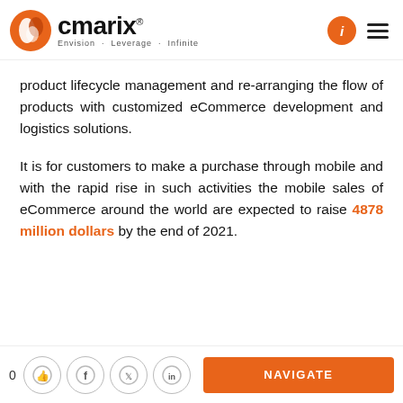[Figure (logo): CMARIX logo with orange circular icon and text 'cmarix®' with tagline 'Envision · Leverage · Infinite']
product lifecycle management and re-arranging the flow of products with customized eCommerce development and logistics solutions.
It is for customers to make a purchase through mobile and with the rapid rise in such activities the mobile sales of eCommerce around the world are expected to raise 4878 million dollars by the end of 2021.
0 [thumbs-up] [facebook] [twitter] [linkedin] NAVIGATE